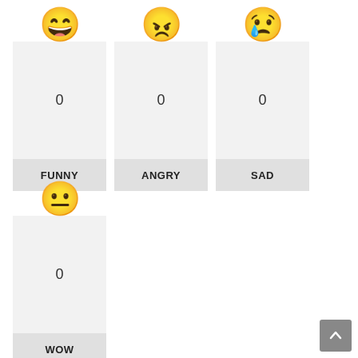[Figure (infographic): Emoji reaction counter UI showing FUNNY (laughing emoji, count 0), ANGRY (angry emoji, count 0), SAD (crying emoji, count 0) in first row, and WOW (surprised emoji, count 0) in second row, with a scroll-to-top button at bottom right.]